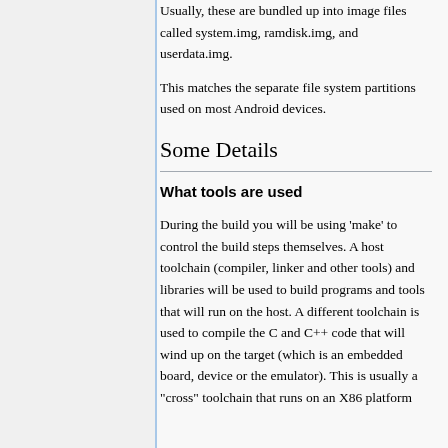Usually, these are bundled up into image files called system.img, ramdisk.img, and userdata.img.
This matches the separate file system partitions used on most Android devices.
Some Details
What tools are used
During the build you will be using 'make' to control the build steps themselves. A host toolchain (compiler, linker and other tools) and libraries will be used to build programs and tools that will run on the host. A different toolchain is used to compile the C and C++ code that will wind up on the target (which is an embedded board, device or the emulator). This is usually a "cross" toolchain that runs on an X86 platform